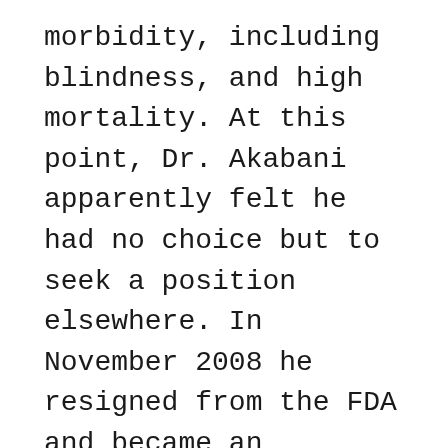morbidity, including blindness, and high mortality. At this point, Dr. Akabani apparently felt he had no choice but to seek a position elsewhere. In November 2008 he resigned from the FDA and became an Associate Professor in the Department of Nuclear Engineering at Texas A & M University.
We believe that retaliation against other CDRH whistleblowers occurred, but we are not including the details here. We are withholding this information in order to protect those whistleblowers from further